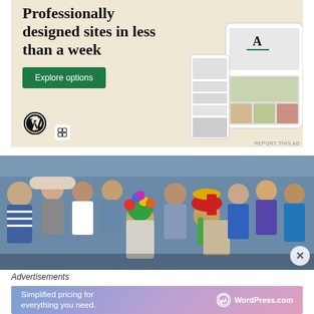[Figure (screenshot): WordPress.com advertisement showing 'Professionally designed sites in less than a week' with an Explore options green button, WordPress logo, and website mockup screenshots on a beige/cream background.]
[Figure (photo): Photo of a crowd of children, with two children in the foreground wearing colorful festive hats/costumes (one with multicolored flowers, another with red and yellow). A close (X) button is visible in the lower right.]
Advertisements
[Figure (screenshot): WordPress.com advertisement banner with gradient background (purple/pink/blue) reading 'Simplified pricing for everything you need.' with the WordPress.com logo on the right.]